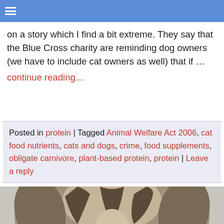☰
on a story which I find a bit extreme. They say that the Blue Cross charity are reminding dog owners (we have to include cat owners as well) that if …
continue reading…
Posted in protein | Tagged Animal Welfare Act 2006, cat food nutrients, cats and dogs, crime, food supplements, obligate carnivore, plant-based protein, protein | Leave a reply
[Figure (photo): Close-up top-down view of a tabby cat's face with wide blue eyes looking up at camera, against a light grey background]